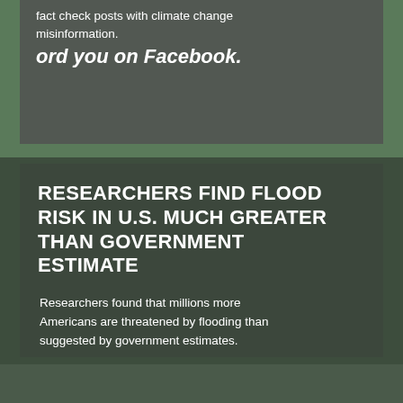fact check posts with climate change misinformation.
ord you on Facebook.
RESEARCHERS FIND FLOOD RISK IN U.S. MUCH GREATER THAN GOVERNMENT ESTIMATE
Researchers found that millions more Americans are threatened by flooding than suggested by government estimates.